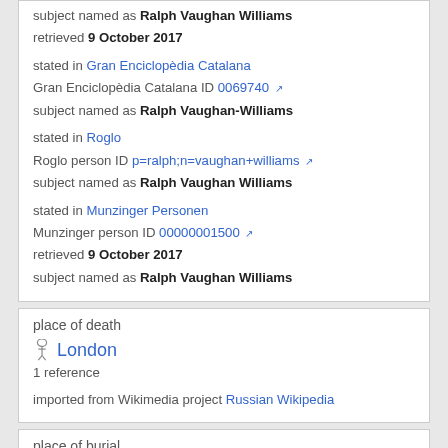subject named as Ralph Vaughan Williams
retrieved 9 October 2017
stated in Gran Enciclopèdia Catalana
Gran Enciclopèdia Catalana ID 0069740
subject named as Ralph Vaughan-Williams
stated in Roglo
Roglo person ID p=ralph;n=vaughan+williams
subject named as Ralph Vaughan Williams
stated in Munzinger Personen
Munzinger person ID 00000001500
retrieved 9 October 2017
subject named as Ralph Vaughan Williams
place of death
London
1 reference
imported from Wikimedia project Russian Wikipedia
place of burial